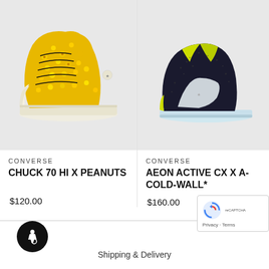[Figure (photo): Converse Chuck 70 Hi X Peanuts sneaker - yellow floral high-top shoe on grey background]
CONVERSE
CHUCK 70 HI X PEANUTS
$120.00
[Figure (photo): Converse Aeon Active CX X A-Cold-Wall sneaker - dark navy/black low-top shoe with yellow-green accents on grey background]
CONVERSE
AEON ACTIVE CX X A-COLD-WALL*
$160.00
Shipping & Delivery